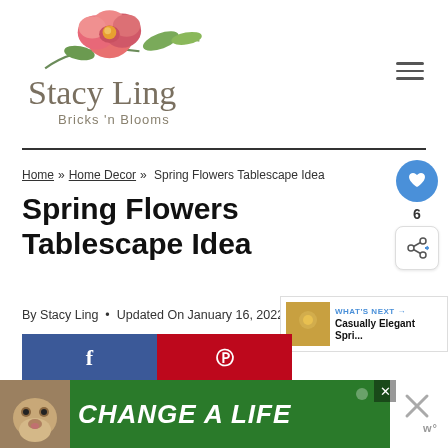[Figure (logo): Stacy Ling Bricks 'n Blooms logo with pink peony flower watercolor illustration and cursive brand name]
Home » Home Decor » Spring Flowers Tablescape Idea
Spring Flowers Tablescape Idea
By Stacy Ling • Updated On January 16, 2022
[Figure (infographic): Facebook and Pinterest share buttons]
[Figure (infographic): CHANGE A LIFE advertisement banner with dog photo]